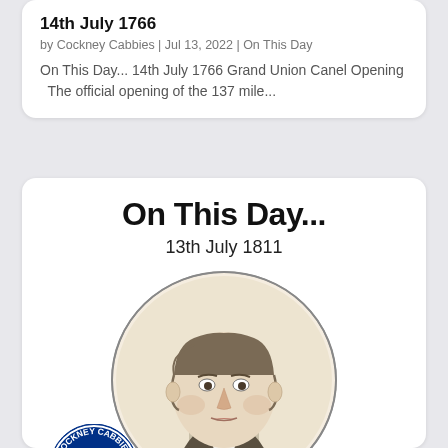14th July 1766
by Cockney Cabbies | Jul 13, 2022 | On This Day
On This Day... 14th July 1766 Grand Union Canel Opening   The official opening of the 137 mile...
On This Day...
13th July 1811
[Figure (illustration): Victorian-era engraved portrait of a middle-aged man in a circular frame, wearing a bow tie and jacket]
[Figure (logo): Cockney Cabbies circular logo with red, white and blue colors featuring a black cab silhouette]